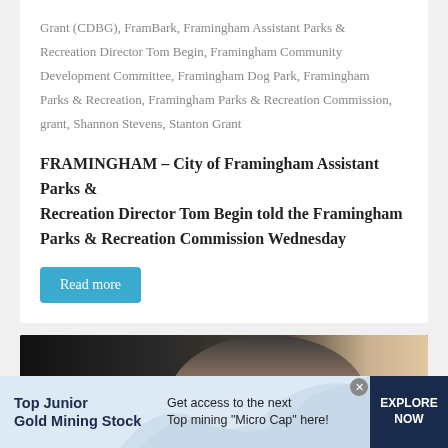Grant (CDBG), FramBark, Framingham Assistant Parks & Recreation Director Tom Begin, Framingham Community Development Committee, Framingham Dog Park, Framingham Parks & Recreation, Framingham Parks & Recreation Commission, grant, Shannon Stevens, Stanton Grant
FRAMINGHAM – City of Framingham Assistant Parks & Recreation Director Tom Begin told the Framingham Parks & Recreation Commission Wednesday
Read more
[Figure (photo): Dark photograph showing partial view of a person's head/face against a light background]
Top Junior Gold Mining Stock — Get access to the next Top mining "Micro Cap" here! — EXPLORE NOW